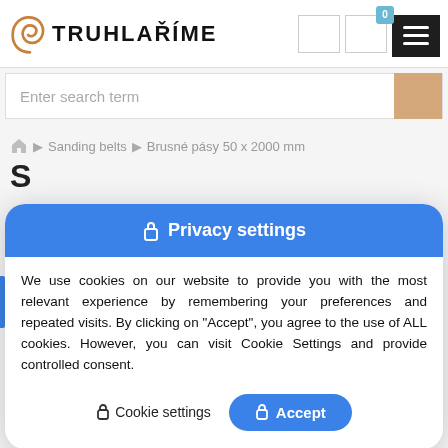[Figure (logo): Truhlarime logo with spiral icon and bold text TRUHLAŘÍME]
[Figure (screenshot): Navigation header with search bar, cart icon showing badge 0, and hamburger menu button]
Sanding belts   Brusné pásy 50 x 2000 mm
🔒 Privacy settings
We use cookies on our website to provide you with the most relevant experience by remembering your preferences and repeated visits. By clicking on "Accept", you agree to the use of ALL cookies. However, you can visit Cookie Settings and provide controlled consent.
🔒 Cookie settings
🔒 Accept